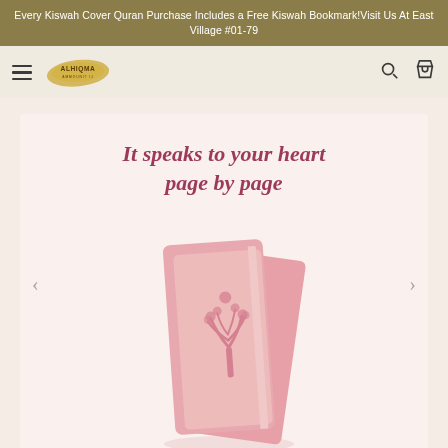Every Kiswah Cover Quran Purchase Includes a Free Kiswah Bookmark!Visit Us At East Village #01-79
[Figure (logo): ALHIQMA brand logo in gold brushstroke style with nav hamburger menu, search icon, and basket icon]
[Figure (photo): Hero banner with italic serif text 'It speaks to your heart page by page' in mauve/dark rose color, and a pink leatherette Quran book centered below on a light pink background, with carousel left and right arrows]
It speaks to your heart page by page